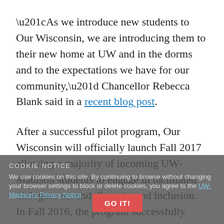“As we introduce new students to Our Wisconsin, we are introducing them to their new home at UW and in the dorms and to the expectations we have for our community,” Chancellor Rebecca Blank said in a recent blog post.
After a successful pilot program, Our Wisconsin will officially launch Fall 2017 allowing a majority of incoming UW-Madison students to engage in facilitated dialogues around diversity and inclusion. In Fall 2016, the program successfully reached about 1,000 undergraduate students throughout Sellery, Cole, Leopold, and Sullivan residence halls. Workshops are led by Badger Way Facilitators, teams of student, staff and faculty who have an interest in allowing participants to
COOKIE NOTICE
We use cookies on this site. By continuing to browse without changing your browser settings to block or delete cookies, you agree to the UW-Madison's Privacy Notice.